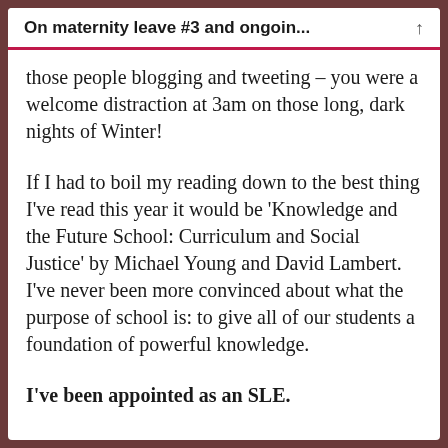On maternity leave #3 and ongoin...
those people blogging and tweeting – you were a welcome distraction at 3am on those long, dark nights of Winter!
If I had to boil my reading down to the best thing I've read this year it would be 'Knowledge and the Future School: Curriculum and Social Justice' by Michael Young and David Lambert. I've never been more convinced about what the purpose of school is: to give all of our students a foundation of powerful knowledge.
I've been appointed as an SLE.